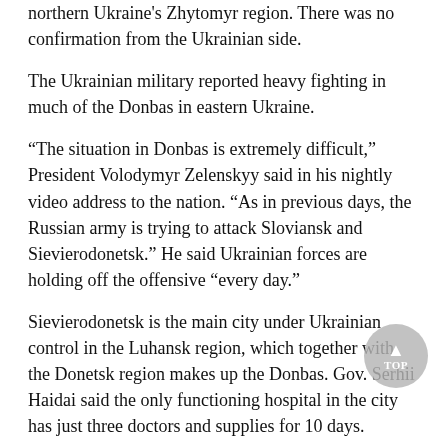northern Ukraine's Zhytomyr region. There was no confirmation from the Ukrainian side.
The Ukrainian military reported heavy fighting in much of the Donbas in eastern Ukraine.
“The situation in Donbas is extremely difficult,” President Volodymyr Zelenskyy said in his nightly video address to the nation. “As in previous days, the Russian army is trying to attack Sloviansk and Sievierodonetsk.” He said Ukrainian forces are holding off the offensive “every day.”
Sievierodonetsk is the main city under Ukrainian control in the Luhansk region, which together with the Donetsk region makes up the Donbas. Gov. Serhii Haidai said the only functioning hospital in the city has just three doctors and supplies for 10 days.
Sloviansk, in the Donetsk region, is critical to Russia’s objective of capturing all of eastern Ukraine and saw fierce fighting last month after Moscow’s troops backed off from Kyiv. Russian shelling on Saturday killed seven civilians and injured 10 more elsewhere in the region, the governor said.
A monastery in the Donetsk region village of Bohorodichne was evacuated after being hit by a Russian airstrike, the regional police said Saturday. About 100 monks, nuns and children had